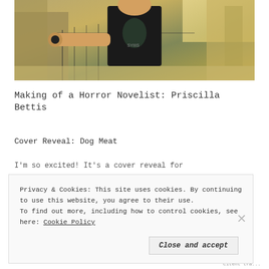[Figure (photo): Photo of a person wearing a black graphic t-shirt holding something, standing in an outdoor alleyway or path with stone walls and iron fencing, warm golden sunlight in background]
Making of a Horror Novelist: Priscilla Bettis
Cover Reveal: Dog Meat
I'm so excited! It's a cover reveal for
Privacy & Cookies: This site uses cookies. By continuing to use this website, you agree to their use.
To find out more, including how to control cookies, see here: Cookie Policy
Close and accept